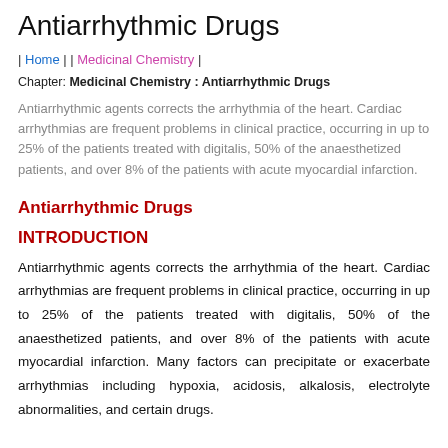Antiarrhythmic Drugs
| Home | | Medicinal Chemistry |
Chapter: Medicinal Chemistry : Antiarrhythmic Drugs
Antiarrhythmic agents corrects the arrhythmia of the heart. Cardiac arrhythmias are frequent problems in clinical practice, occurring in up to 25% of the patients treated with digitalis, 50% of the anaesthetized patients, and over 8% of the patients with acute myocardial infarction.
Antiarrhythmic Drugs
INTRODUCTION
Antiarrhythmic agents corrects the arrhythmia of the heart. Cardiac arrhythmias are frequent problems in clinical practice, occurring in up to 25% of the patients treated with digitalis, 50% of the anaesthetized patients, and over 8% of the patients with acute myocardial infarction. Many factors can precipitate or exacerbate arrhythmias including hypoxia, acidosis, alkalosis, electrolyte abnormalities, and certain drugs.